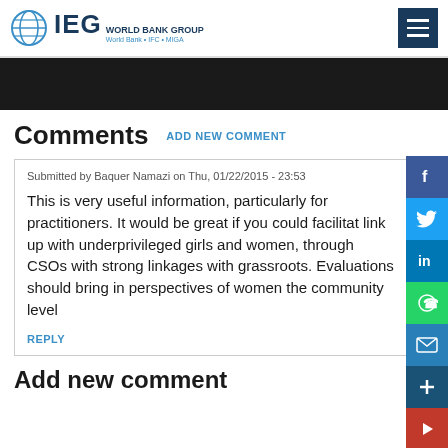IEG World Bank Group | World Bank + IFC + MIGA
Comments  ADD NEW COMMENT
Submitted by Baquer Namazi on Thu, 01/22/2015 - 23:53
This is very useful information, particularly for practitioners. It would be great if you could facilitate link up with underprivileged girls and women, through CSOs with strong linkages with grassroots. Evaluations should bring in perspectives of women the community level
REPLY
Add new comment